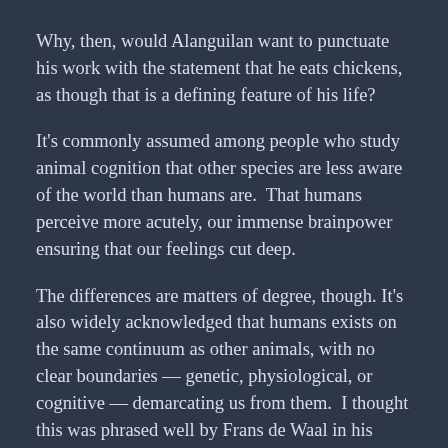Why, then, would Alanguilan want to punctuate his work with the statement that he eats chickens, as though that is a defining feature of his life?
It's commonly assumed among people who study animal cognition that other species are less aware of the world than humans are.  That humans perceive more acutely, our immense brainpower ensuring that our feelings cut deep.
The differences are matters of degree, though. It's also widely acknowledged that humans exists on the same continuum as other animals, with no clear boundaries — genetic, physiological, or cognitive — demarcating us from them.  I thought this was phrased well by Frans de Waal in his editorial on Homo naledi and teleological